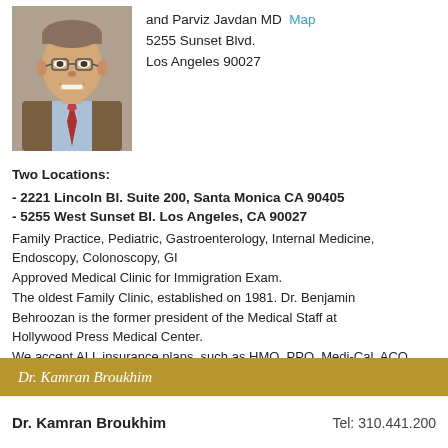[Figure (photo): Portrait photo of a smiling middle-aged man wearing glasses, a brown jacket, light blue shirt, and red tie.]
and Parviz Javdan MD
5255 Sunset Blvd.
Los Angeles 90027
Map
Two Locations:
- 2221 Lincoln Bl. Suite 200, Santa Monica CA 90405
- 5255 West Sunset Bl. Los Angeles, CA 90027
Family Practice, Pediatric, Gastroenterology, Internal Medicine, Endoscopy, Colonoscopy, GI
Approved Medical Clinic for Immigration Exam.
The oldest Family Clinic, established on 1981. Dr. Benjamin Behroozan is the former president of the Medical Staff at Hollywood Press Medical Center.
We accept ALL insurance plans, such as HMO, PPO, Medi-Cal, ACO Medicare, and etc.
Dr. Kamran Broukhim
Dr. Kamran Broukhim
Tel: 310.441.200